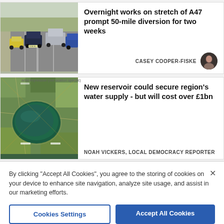[Figure (photo): Aerial/road photo showing cars on a road (A47 highway)]
Overnight works on stretch of A47 prompt 50-mile diversion for two weeks
CASEY COOPER-FISKE
[Figure (photo): Aerial view of a reservoir surrounded by farmland and fields]
New reservoir could secure region's water supply - but will cost over £1bn
NOAH VICKERS, LOCAL DEMOCRACY REPORTER
By clicking "Accept All Cookies", you agree to the storing of cookies on your device to enhance site navigation, analyze site usage, and assist in our marketing efforts.
Cookies Settings
Accept All Cookies